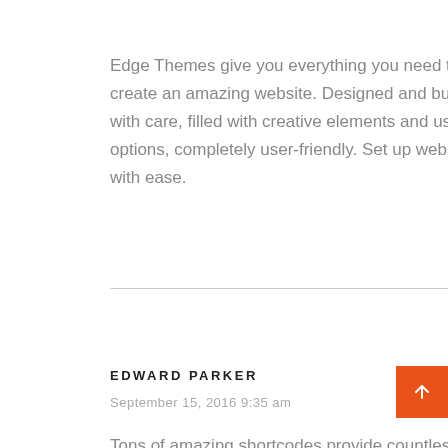Edge Themes give you everything you need to create an amazing website. Designed and built with care, filled with creative elements and useful options, completely user-friendly. Set up website with ease.
EDWARD PARKER
September 15, 2016 9:35 am
Tons of amazing shortcodes provide countless options. From image